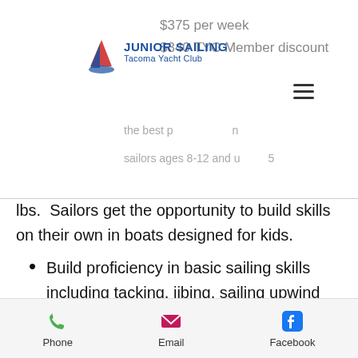$375 per week
$340 TYC Member discount
JUNIOR SAILING Tacoma Yacht Club
the best p...
sailors ages 8-12 and u...
lbs.  Sailors get the opportunity to build skills on their own in boats designed for kids.
Build proficiency in basic sailing skills including tacking, jibing, sailing upwind and downwind
Sailing independently in an Opti
Using sailing skills for games and activities such as a
Phone  Email  Facebook